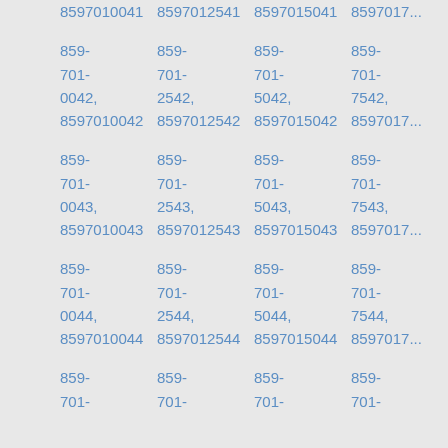8597010041 8597012541 8597015041 8597017541
859-701-0042, 8597010042  859-701-2542, 8597012542  859-701-5042, 8597015042  859-701-7542, 8597017542
859-701-0043, 8597010043  859-701-2543, 8597012543  859-701-5043, 8597015043  859-701-7543, 8597017543
859-701-0044, 8597010044  859-701-2544, 8597012544  859-701-5044, 8597015044  859-701-7544, 8597017544
859-701-  859-701-  859-701-  859-701-